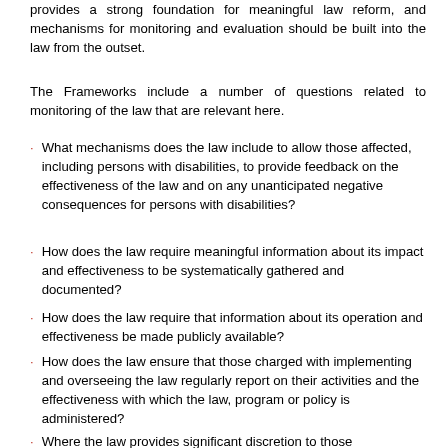Monitoring of the law and regular evaluation of its effects provides a strong foundation for meaningful law reform, and mechanisms for monitoring and evaluation should be built into the law from the outset.
The Frameworks include a number of questions related to monitoring of the law that are relevant here.
What mechanisms does the law include to allow those affected, including persons with disabilities, to provide feedback on the effectiveness of the law and on any unanticipated negative consequences for persons with disabilities?
How does the law require meaningful information about its impact and effectiveness to be systematically gathered and documented?
How does the law require that information about its operation and effectiveness be made publicly available?
How does the law ensure that those charged with implementing and overseeing the law regularly report on their activities and the effectiveness with which the law, program or policy is administered?
Where the law provides significant discretion to those charged with its implementation, what additional...